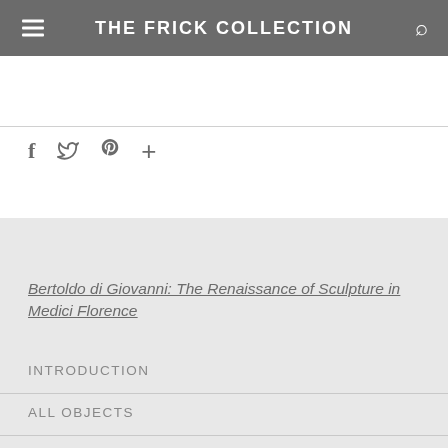THE FRICK COLLECTION
f  🐦  𝗣  +
Bertoldo di Giovanni: The Renaissance of Sculpture in Medici Florence
INTRODUCTION
ALL OBJECTS